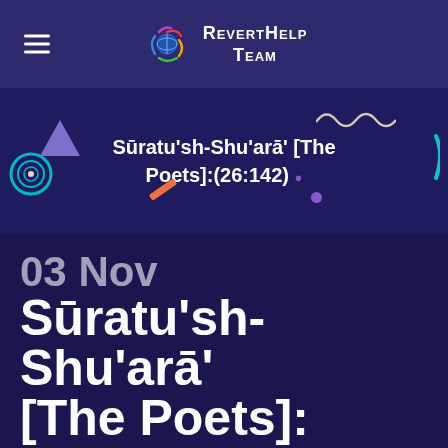RevertHelp Team
Sūratu'sh-Shu'arā' [The Poets]:(26:142)
03 Nov Sūratu'sh-Shu'arā' [The Poets]: